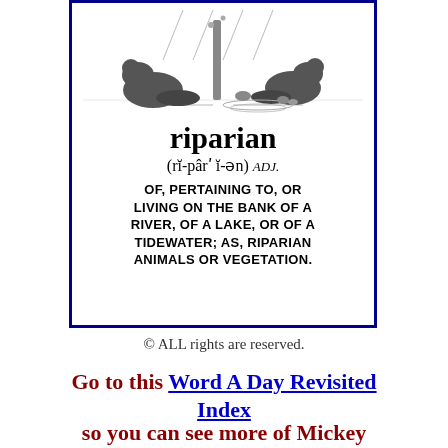[Figure (illustration): Dictionary-style illustrated card with a black and white cartoon showing two beavers at a riverbank, with the word 'riparian', its pronunciation, and definition. Blue border frame.]
© ALL rights are reserved.
Go to this Word A Day Revisited Index so you can see more of Mickey Bach's cartoons.